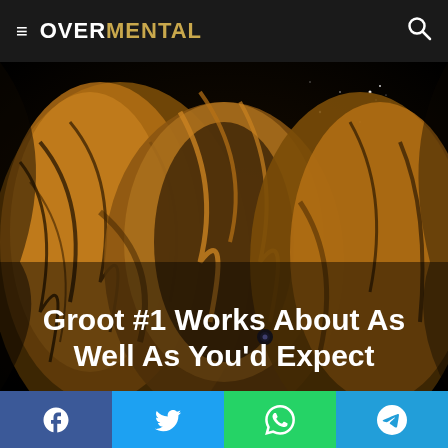≡ OVERMENTAL 🔍
[Figure (illustration): Dark comic book art showing Groot (a tree-like creature) with golden-orange bark textures against a black starry background. Close-up dramatic view showing woody bark, branches, and glowing eyes.]
Groot #1 Works About As Well As You'd Expect
Facebook | Twitter | WhatsApp | Telegram social share buttons